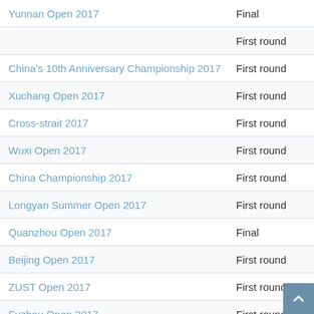| Tournament | Round |
| --- | --- |
| Yunnan Open 2017 | Final |
|  | First round |
| China's 10th Anniversary Championship 2017 | First round |
| Xuchang Open 2017 | First round |
| Cross-strait 2017 | First round |
| Wuxi Open 2017 | First round |
| China Championship 2017 | First round |
| Longyan Summer Open 2017 | First round |
| Quanzhou Open 2017 | Final |
| Beijing Open 2017 | First round |
| ZUST Open 2017 | First round |
| Fuzhou Open 2017 | First round |
| Xiamen Open 2017 | First round |
| Changsha Xiangmo 2017 | Final |